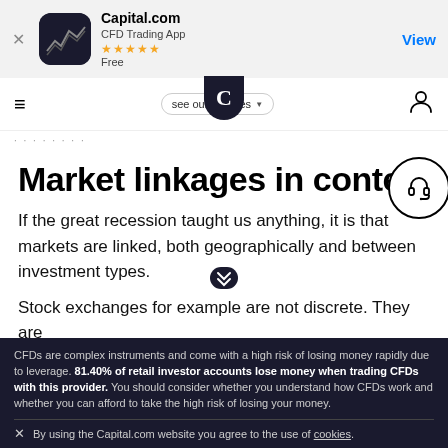[Figure (screenshot): App Store banner for Capital.com CFD Trading App with 5-star rating, showing app icon, name, rating stars, 'Free' label, and a 'View' button]
[Figure (screenshot): Navigation bar with hamburger menu, Capital.com logo (C in dark rounded shield), 'see our licences' dropdown button, and user icon]
Market linkages in contex
If the great recession taught us anything, it is that markets are linked, both geographically and between investment types.
Stock exchanges for example are not discrete. They are
CFDs are complex instruments and come with a high risk of losing money rapidly due to leverage. 81.40% of retail investor accounts lose money when trading CFDs with this provider. You should consider whether you understand how CFDs work and whether you can afford to take the high risk of losing your money.
By using the Capital.com website you agree to the use of cookies.